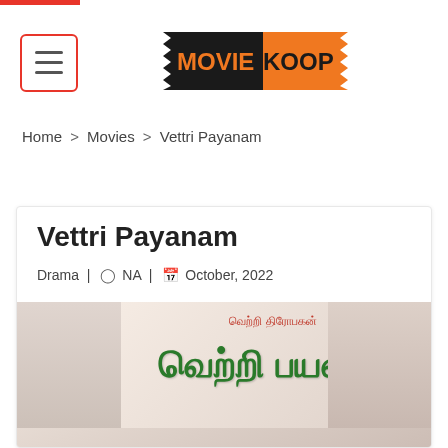[Figure (logo): MovieKoop logo — black and orange ticket-style logo with text MOVIEKOOP and TM mark]
Home > Movies > Vettri Payanam
Vettri Payanam
Drama | NA | October, 2022
[Figure (photo): Movie poster for Vettri Payanam showing Tamil text (வெற்றி பயணம்) in green letters on a pinkish background, with additional red Tamil text above]
Tamil
Think Good... [Tamil text]
FREE MOVIE TICKETS
Get Free Movie Tickets, Best Movie Offers,
DOWNLOAD APP